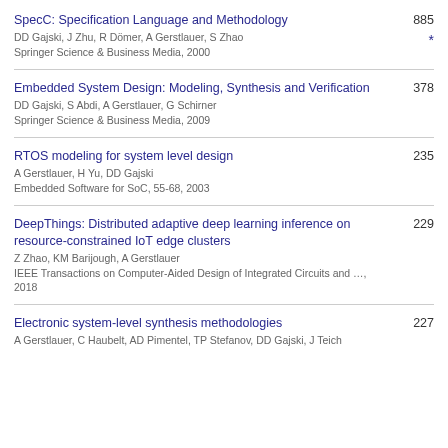SpecC: Specification Language and Methodology | DD Gajski, J Zhu, R Dömer, A Gerstlauer, S Zhao | Springer Science & Business Media, 2000 | 885 | *
Embedded System Design: Modeling, Synthesis and Verification | DD Gajski, S Abdi, A Gerstlauer, G Schirner | Springer Science & Business Media, 2009 | 378
RTOS modeling for system level design | A Gerstlauer, H Yu, DD Gajski | Embedded Software for SoC, 55-68, 2003 | 235
DeepThings: Distributed adaptive deep learning inference on resource-constrained IoT edge clusters | Z Zhao, KM Barijough, A Gerstlauer | IEEE Transactions on Computer-Aided Design of Integrated Circuits and …, 2018 | 229
Electronic system-level synthesis methodologies | A Gerstlauer, C Haubelt, AD Pimentel, TP Stefanov, DD Gajski, J Teich | 227